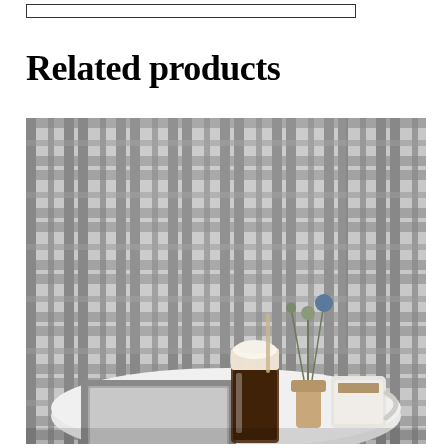Related products
[Figure (photo): A cafe table scene with a plaid/grid patterned wallpaper background. On a round white marble table sits a laptop, an iced coffee drink with cream, a white ceramic mug of coffee, a small vase with dried flowers, and scissors.]